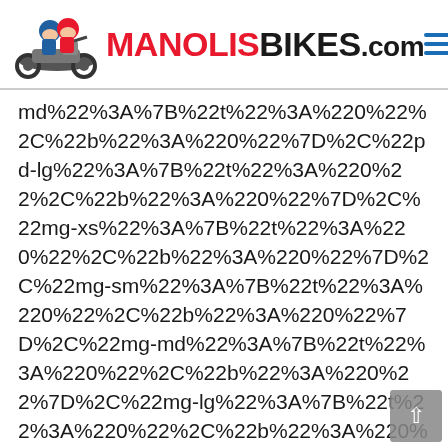[Figure (logo): ManolisBikes.com website header with cartoon logo of two kids on a motorcycle and the text MANOLISBIKES.com in red and black, with a blue hamburger menu icon on the right]
md%22%3A%7B%22t%22%3A%220%22%2C%22b%22%3A%220%22%7D%2C%22pd-lg%22%3A%7B%22t%22%3A%220%22%2C%22b%22%3A%220%22%7D%2C%22mg-xs%22%3A%7B%22t%22%3A%220%22%2C%22b%22%3A%220%22%7D%2C%22mg-sm%22%3A%7B%22t%22%3A%220%22%2C%22b%22%3A%220%22%7D%2C%22mg-md%22%3A%7B%22t%22%3A%220%22%2C%22b%22%3A%220%22%7D%2C%22mg-lg%22%3A%7B%22t%22%3A%220%22%2C%22b%22%3A%220%22%7D%7D%2C%22clrs%22%3A%7B%22text-custom-color%22%3A%22%5B3%5D%22%2C%22go